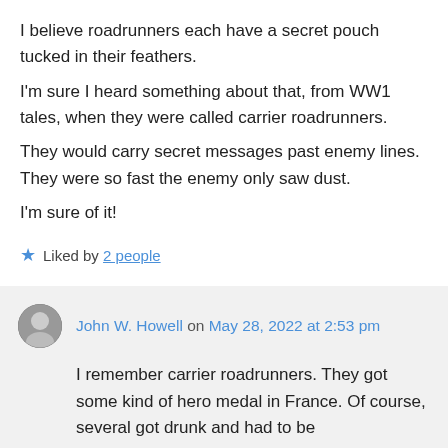I believe roadrunners each have a secret pouch tucked in their feathers.
I'm sure I heard something about that, from WW1 tales, when they were called carrier roadrunners.
They would carry secret messages past enemy lines. They were so fast the enemy only saw dust.
I'm sure of it!
★ Liked by 2 people
John W. Howell on May 28, 2022 at 2:53 pm
I remember carrier roadrunners. They got some kind of hero medal in France. Of course, several got drunk and had to be